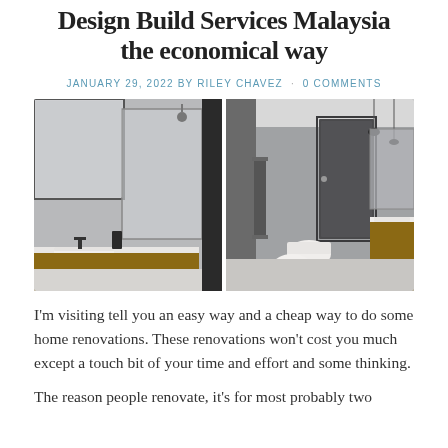Design Build Services Malaysia the economical way
JANUARY 29, 2022 BY RILEY CHAVEZ · 0 COMMENTS
[Figure (photo): Two modern bathroom interior photos side by side: left shows a walk-in shower with glass enclosure and wooden vanity cabinet; right shows a long bathroom with dark door, toilet, wall-mounted sinks, pendant lights, and wooden vanities.]
I'm visiting tell you an easy way and a cheap way to do some home renovations. These renovations won't cost you much except a touch bit of your time and effort and some thinking.
The reason people renovate, it's for most probably two